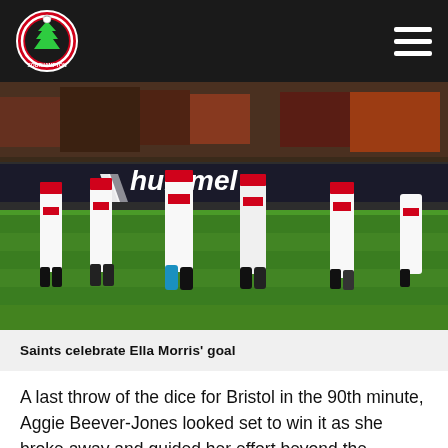Southampton FC navigation bar with logo and menu
[Figure (photo): Football players' legs in Southampton FC red and white kit on a grass pitch, with crowd and advertising hoardings visible in the background. Hummel logo on pitch-side board.]
Saints celebrate Ella Morris' goal
A last throw of the dice for Bristol in the 90th minute, Aggie Beever-Jones looked set to win it as she broke away and guided her effort beyond the outrushing Rednell, but heroic substitute Milly Mott showed incredible determination to get back and steer off the line, preserving the scoreline to the 90th minute of